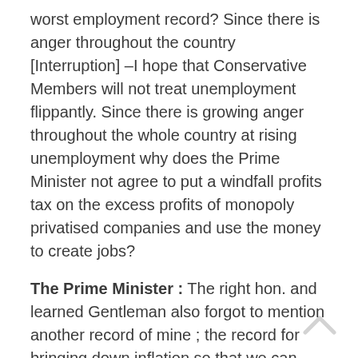worst employment record? Since there is anger throughout the country [Interruption] –I hope that Conservative Members will not treat unemployment flippantly. Since there is growing anger throughout the whole country at rising unemployment why does the Prime Minister not agree to put a windfall profits tax on the excess profits of monopoly privatised companies and use the money to create jobs?
The Prime Minister : The right hon. and learned Gentleman also forgot to mention another record of mine ; the record for bringing down inflation so that we can recreate lasting jobs. The fact is that what we just heard is the old Labour party speaking ; the party of the 1960s and 1970s. They hate profits. They would rather have nationalised industries making losses than privatised industries